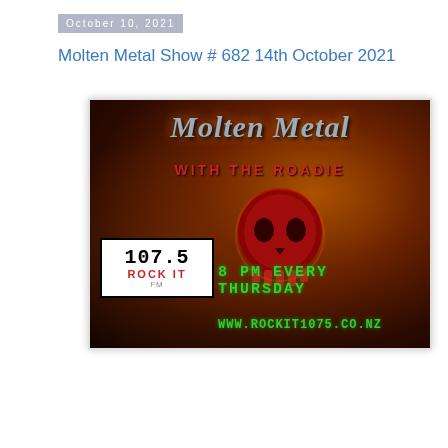October 10, 2021
Molten Metal Show # 682 14th October 2021
[Figure (photo): Promotional banner for Molten Metal With The Roadie radio show on 107.5 Rock It FM. Dark fiery background with orange/gold 'Molten Metal' title text, red 'WITH THE ROADIE' subtitle, a red glowing skull in the center, 107.5 Rock It FM logo box on the lower left, and green text reading '8 PM EVERY THURSDAY' and 'WWW.ROCKIT1075.CO.NZ' on the lower right.]